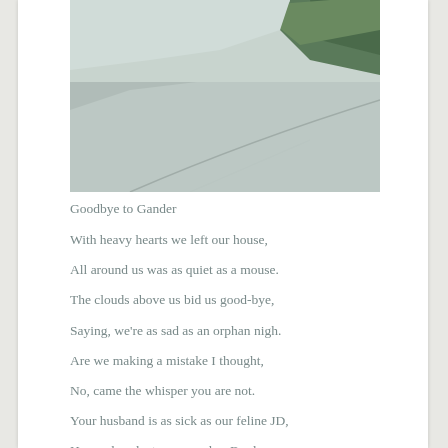[Figure (photo): A road curving away with greenery/trees visible on the right side. The road surface is gray concrete or asphalt. The photo has a muted, slightly washed-out color tone.]
Goodbye to Gander
With heavy hearts we left our house,
All around us was as quiet as a mouse.
The clouds above us bid us good-bye,
Saying, we're as sad as an orphan nigh.
Are we making a mistake I thought,
No, came the whisper you are not.
Your husband is as sick as our feline JD,
He needs a doctor as good as Brady.